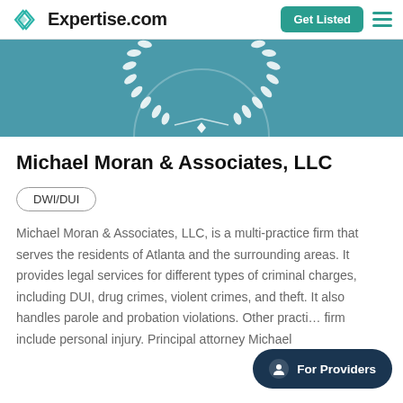Expertise.com — Get Listed
[Figure (illustration): Teal banner with white laurel wreath award emblem partially visible]
Michael Moran & Associates, LLC
DWI/DUI
Michael Moran & Associates, LLC, is a multi-practice firm that serves the residents of Atlanta and the surrounding areas. It provides legal services for different types of criminal charges, including DUI, drug crimes, violent crimes, and theft. It also handles parole and probation violations. Other practi… firm include personal injury. Principal attorney Michael